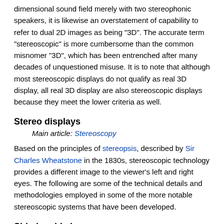dimensional sound field merely with two stereophonic speakers, it is likewise an overstatement of capability to refer to dual 2D images as being "3D". The accurate term "stereoscopic" is more cumbersome than the common misnomer "3D", which has been entrenched after many decades of unquestioned misuse. It is to note that although most stereoscopic displays do not qualify as real 3D display, all real 3D display are also stereoscopic displays because they meet the lower criteria as well.
Stereo displays
Main article: Stereoscopy
Based on the principles of stereopsis, described by Sir Charles Wheatstone in the 1830s, stereoscopic technology provides a different image to the viewer's left and right eyes. The following are some of the technical details and methodologies employed in some of the more notable stereoscopic systems that have been developed.
Side-by-side images
Traditional stereoscopic